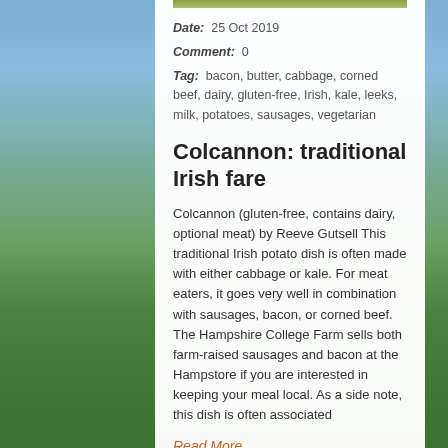[Figure (photo): Food photo strip at the top of the content panel]
Date:  25 Oct 2019
Comment:  0
Tag:  bacon, butter, cabbage, corned beef, dairy, gluten-free, Irish, kale, leeks, milk, potatoes, sausages, vegetarian
Colcannon: traditional Irish fare
Colcannon (gluten-free, contains dairy, optional meat) by Reeve Gutsell This traditional Irish potato dish is often made with either cabbage or kale. For meat eaters, it goes very well in combination with sausages, bacon, or corned beef.  The Hampshire College Farm sells both farm-raised sausages and bacon at the Hampstore if you are interested in keeping your meal local. As a side note, this dish is often associated
Read More